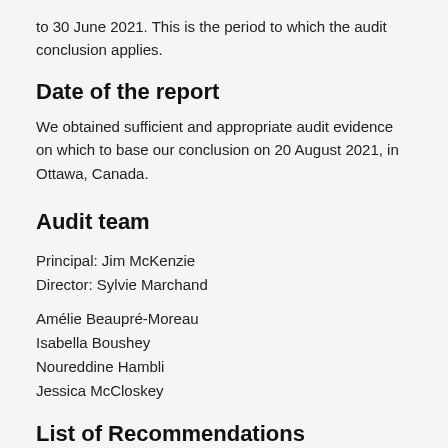to 30 June 2021. This is the period to which the audit conclusion applies.
Date of the report
We obtained sufficient and appropriate audit evidence on which to base our conclusion on 20 August 2021, in Ottawa, Canada.
Audit team
Principal: Jim McKenzie
Director: Sylvie Marchand
Amélie Beaupré-Moreau
Isabella Boushey
Noureddine Hambli
Jessica McCloskey
List of Recommendations